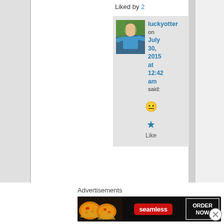Liked by 2
luckyotter on July 30, 2015 at 12:42 am said:
[Figure (photo): Avatar photo of luckyotter - person in blue top outdoors]
😐
★ Like
Advertisements
[Figure (photo): Seamless food delivery advertisement banner with pizza slices on left, Seamless red logo in center, ORDER NOW button on right with dark background]